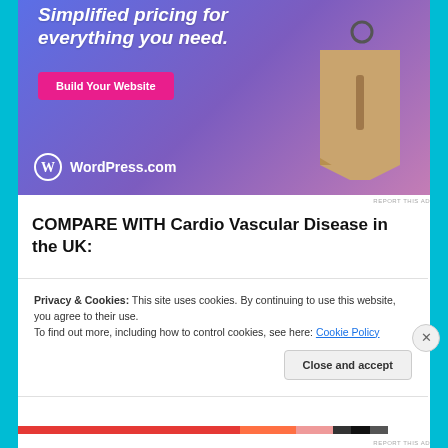[Figure (illustration): WordPress.com advertisement banner with gradient blue-purple background, text 'Simplified pricing for everything you need.', pink 'Build Your Website' button, a tan price tag graphic, and WordPress.com logo at bottom left.]
COMPARE WITH Cardio Vascular Disease in the UK:
Privacy & Cookies: This site uses cookies. By continuing to use this website, you agree to their use.
To find out more, including how to control cookies, see here: Cookie Policy
Close and accept